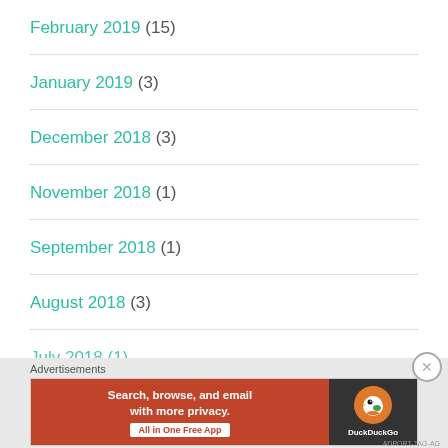February 2019 (15)
January 2019 (3)
December 2018 (3)
November 2018 (1)
September 2018 (1)
August 2018 (3)
July 2018 (1)
[Figure (other): DuckDuckGo advertisement banner: 'Search, browse, and email with more privacy. All in One Free App' on orange background with DuckDuckGo logo on dark background]
Advertisements